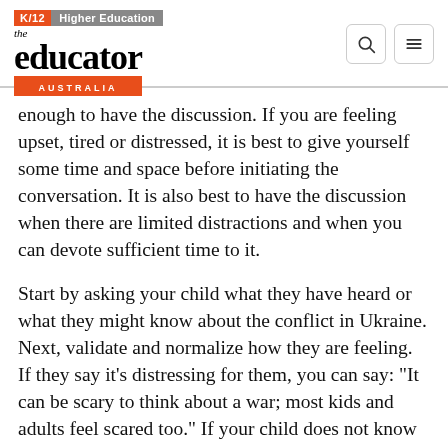K/12 | Higher Education — the educator AUSTRALIA
enough to have the discussion. If you are feeling upset, tired or distressed, it is best to give yourself some time and space before initiating the conversation. It is also best to have the discussion when there are limited distractions and when you can devote sufficient time to it.
Start by asking your child what they have heard or what they might know about the conflict in Ukraine. Next, validate and normalize how they are feeling. If they say it's distressing for them, you can say: "It can be scary to think about a war; most kids and adults feel scared too." If your child does not know very much or does not seem to be very disconcerted about